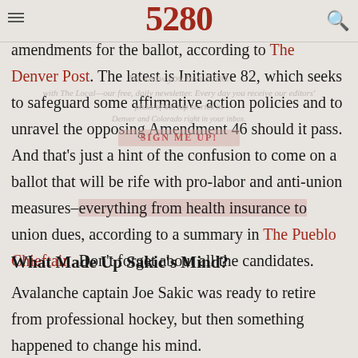5280
amendments for the ballot, according to The Denver Post. The latest is Initiative 82, which seeks to safeguard some affirmative action policies and to unravel the opposing Amendment 46 should it pass. And that's just a hint of the confusion to come on a ballot that will be rife with pro-labor and anti-union measures–everything from health insurance to union dues, according to a summary in The Pueblo Chieftain. Don't forget about all the candidates.
What Made Up Sakic's Mind?
Avalanche captain Joe Sakic was ready to retire from professional hockey, but then something happened to change his mind.